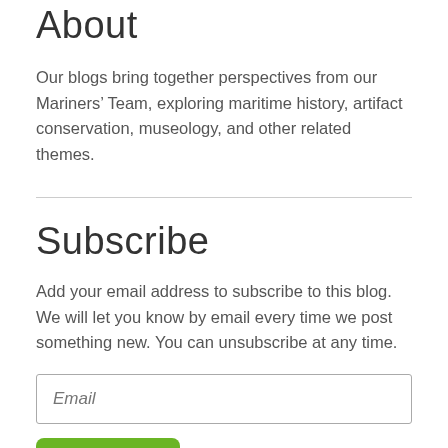About
Our blogs bring together perspectives from our Mariners’ Team, exploring maritime history, artifact conservation, museology, and other related themes.
Subscribe
Add your email address to subscribe to this blog. We will let you know by email every time we post something new. You can unsubscribe at any time.